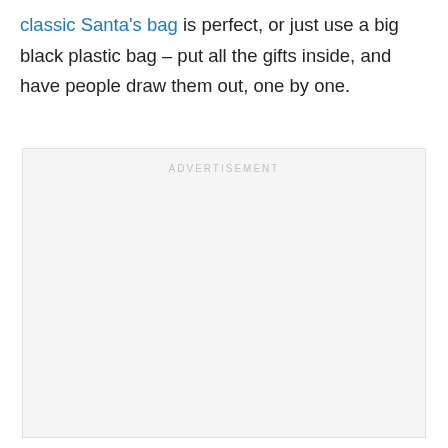classic Santa's bag is perfect, or just use a big black plastic bag – put all the gifts inside, and have people draw them out, one by one.
[Figure (other): Advertisement placeholder box with 'ADVERTISEMENT' label in light gray uppercase text at the top center of a light gray rectangle.]